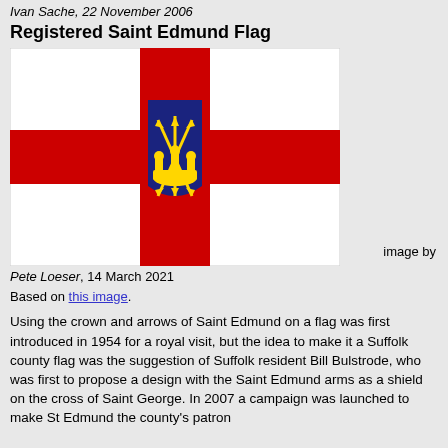Ivan Sache, 22 November 2006
Registered Saint Edmund Flag
[Figure (illustration): Flag of Saint Edmund: white field with red cross of Saint George, overlaid at center with a blue heraldic shield bearing a gold crown and crossed arrows (arms of Saint Edmund)]
image by Pete Loeser, 14 March 2021
Based on this image.
Using the crown and arrows of Saint Edmund on a flag was first introduced in 1954 for a royal visit, but the idea to make it a Suffolk county flag was the suggestion of Suffolk resident Bill Bulstrode, who was first to propose a design with the Saint Edmund arms as a shield on the cross of Saint George. In 2007 a campaign was launched to make St Edmund the county's patron